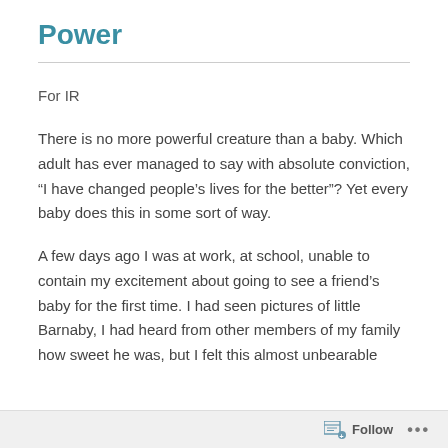Power
For IR
There is no more powerful creature than a baby.  Which adult has ever managed to say with absolute conviction, “I have changed people’s lives for the better”? Yet every baby does this in some sort of way.
A few days ago I was at work, at school, unable to contain my excitement about going to see a friend’s baby for the first time. I had seen pictures of little Barnaby, I had heard from other members of my family how sweet he was, but I felt this almost unbearable
Follow ...